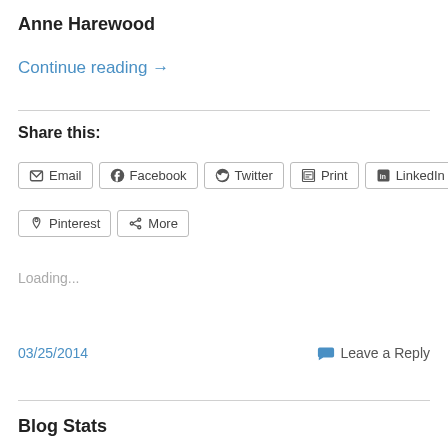Anne Harewood
Continue reading →
Share this:
Email  Facebook  Twitter  Print  LinkedIn  Pinterest  More
Loading...
03/25/2014  Leave a Reply
Blog Stats